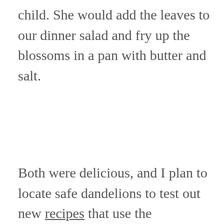child. She would add the leaves to our dinner salad and fry up the blossoms in a pan with butter and salt.
Both were delicious, and I plan to locate safe dandelions to test out new recipes that use the